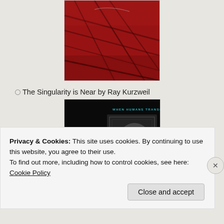[Figure (photo): Partial view of a book cover with red and dark design, showing what appears to be the bottom portion of a book cover with curved lines on a red background]
The Singularity is Near by Ray Kurzweil
[Figure (photo): Book cover of 'The Singularity is Near: When Humans Transcend Biology' by Ray Kurzweil. Black cover with large white text reading 'THE SINGULARITY IS NEAR' and subtitle 'WHEN HUMANS TRANSCEND BIOLOGY' in teal/cyan text at top. A ghostly face image in gray appears in the background.]
Privacy & Cookies: This site uses cookies. By continuing to use this website, you agree to their use.
To find out more, including how to control cookies, see here: Cookie Policy
Close and accept